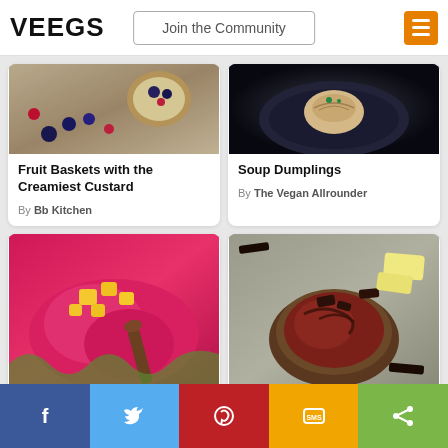VEEGS — Join the Community
[Figure (photo): Fruit basket with berries and custard tart on a dark wooden surface]
Fruit Baskets with the Creamiest Custard
By Bb Kitchen
[Figure (photo): Soup dumplings on a dark plate]
Soup Dumplings
By The Vegan Allrounder
[Figure (photo): Pink dragon fruit smoothie bowl with mango chunks and spoon]
[Figure (photo): Chocolate spread in a coconut bowl with chocolate pieces]
f  Twitter  Pinterest  SMS  Share